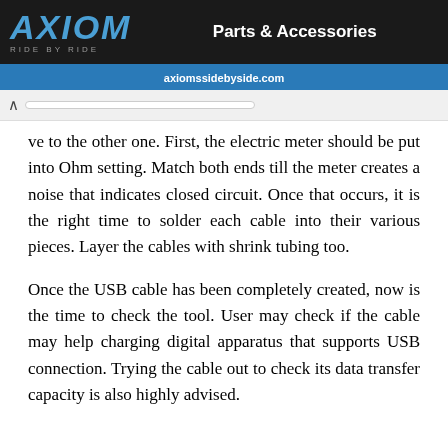[Figure (screenshot): Axiom Side by Side Parts & Accessories banner advertisement showing the Axiom logo in blue italic text on dark background with website URL axiomssidebyside.com on blue bar]
ve to the other one. First, the electric meter should be put into Ohm setting. Match both ends till the meter creates a noise that indicates closed circuit. Once that occurs, it is the right time to solder each cable into their various pieces. Layer the cables with shrink tubing too.
Once the USB cable has been completely created, now is the time to check the tool. User may check if the cable may help charging digital apparatus that supports USB connection. Trying the cable out to check its data transfer capacity is also highly advised.